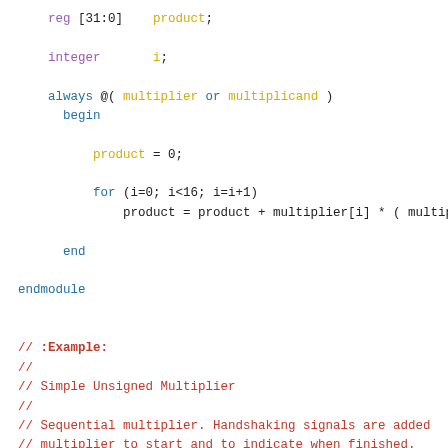reg [31:0]    product;

    integer       i;

    always @( multiplier or multiplicand )
      begin

          product = 0;

          for (i=0; i<16; i=i+1)
              product = product + multiplier[i] * ( multiplic

      end

endmodule


// :Example:
//
// Simple Unsigned Multiplier
//
// Sequential multiplier. Handshaking signals are added
// multiplier to start and to indicate when finished.
// provided for shifted versions of the multiplier and

module simple_mult(product,ready,multiplier,multiplicand,
    input [15:0]  multiplier, multiplicand;
    input         start, clk;
    output        product;